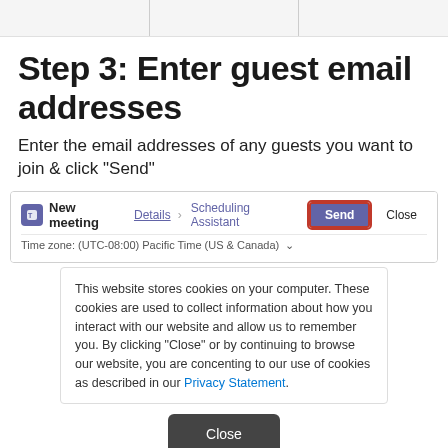[Figure (screenshot): Top strip with three gray boxes simulating UI tabs or header sections]
Step 3: Enter guest email addresses
Enter the email addresses of any guests you want to join & click "Send"
[Figure (screenshot): Microsoft Teams 'New meeting' dialog showing Details and Scheduling Assistant tabs, a highlighted 'Send' button with red border, and a 'Close' button. Below shows Time zone: (UTC-08:00) Pacific Time (US & Canada). A cookie consent overlay reads: This website stores cookies on your computer. These cookies are used to collect information about how you interact with our website and allow us to remember you. By clicking "Close" or by continuing to browse our website, you are concenting to our use of cookies as described in our Privacy Statement. A Close button appears at the bottom.]